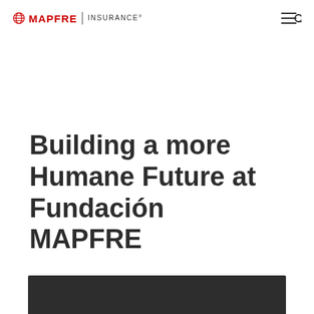MAPFRE | INSURANCE
Building a more Humane Future at Fundación MAPFRE
[Figure (photo): Dark grey/charcoal background image strip at the bottom of the page, partially visible]